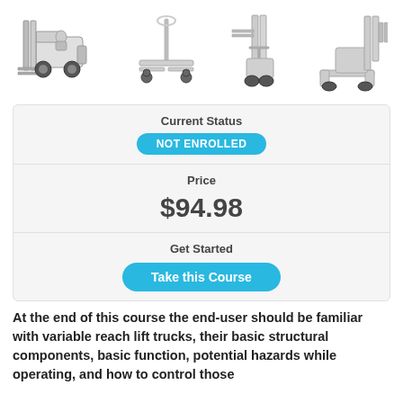[Figure (illustration): Four forklift/warehouse equipment images in a row: a sit-down counterbalanced forklift, a manual pallet jack, a walkie stacker/reach truck, and a stand-up reach truck]
Current Status
NOT ENROLLED
Price
$94.98
Get Started
Take this Course
At the end of this course the end-user should be familiar with variable reach lift trucks, their basic structural components, basic function, potential hazards while operating, and how to control those